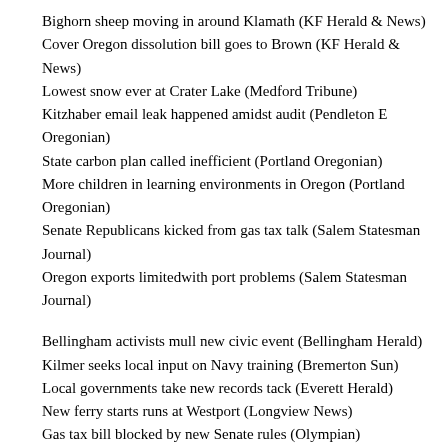Bighorn sheep moving in around Klamath (KF Herald & News)
Cover Oregon dissolution bill goes to Brown (KF Herald & News)
Lowest snow ever at Crater Lake (Medford Tribune)
Kitzhaber email leak happened amidst audit (Pendleton E Oregonian)
State carbon plan called inefficient (Portland Oregonian)
More children in learning environments in Oregon (Portland Oregonian)
Senate Republicans kicked from gas tax talk (Salem Statesman Journal)
Oregon exports limitedwith port problems (Salem Statesman Journal)
Bellingham activists mull new civic event (Bellingham Herald)
Kilmer seeks local input on Navy training (Bremerton Sun)
Local governments take new records tack (Everett Herald)
New ferry starts runs at Westport (Longview News)
Gas tax bill blocked by new Senate rules (Olympian)
Seattle elephants headed for Oklahoma (Seattle Times)
CEO at Avista paid $5.5m last year (Spokane Spokesman)
Ruston may contract with Tacoma on permits (Tacoma News Tribune)
More debate over 'In God we trust' (Vancouver Columbian)